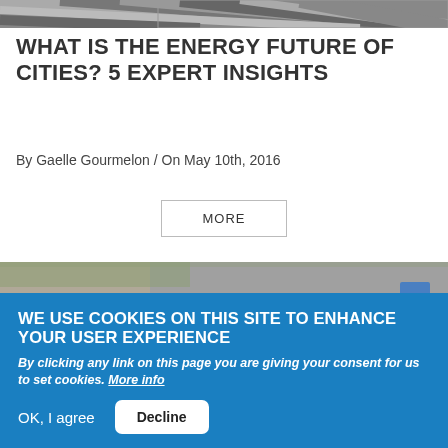[Figure (photo): Diagonal striped/textured image at top of page, appears to be a partial photo]
WHAT IS THE ENERGY FUTURE OF CITIES? 5 EXPERT INSIGHTS
By Gaelle Gourmelon / On May 10th, 2016
MORE
[Figure (photo): Aerial view of a city street with pedestrians and a car, long shadows visible]
WE USE COOKIES ON THIS SITE TO ENHANCE YOUR USER EXPERIENCE
By clicking any link on this page you are giving your consent for us to set cookies. More info
OK, I agree
Decline